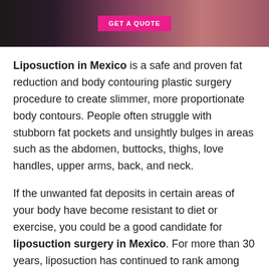[Figure (photo): Banner image with a pink 'GET A QUOTE' button on a dark background with a partial image of a person in a pink bikini with body contouring lines drawn on the skin.]
Liposuction in Mexico is a safe and proven fat reduction and body contouring plastic surgery procedure to create slimmer, more proportionate body contours. People often struggle with stubborn fat pockets and unsightly bulges in areas such as the abdomen, buttocks, thighs, love handles, upper arms, back, and neck.
If the unwanted fat deposits in certain areas of your body have become resistant to diet or exercise, you could be a good candidate for liposuction surgery in Mexico. For more than 30 years, liposuction has continued to rank among the top cosmetic surgery procedures for removing isolated fat deposits in a targeted, less